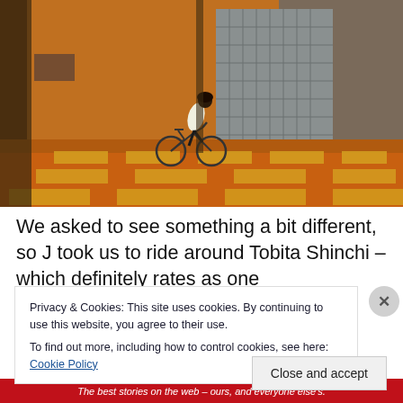[Figure (photo): Night scene of a person riding a bicycle across a zebra crossing / pedestrian crosswalk in Japan (Tobita Shinchi area), orange-lit street, buildings in background]
We asked to see something a bit different, so J took us to ride around Tobita Shinchi – which definitely rates as one
Privacy & Cookies: This site uses cookies. By continuing to use this website, you agree to their use.
To find out more, including how to control cookies, see here: Cookie Policy
The best stories on the web – ours, and everyone else's.